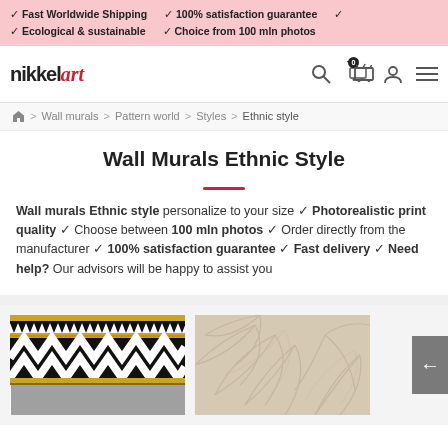✓ Fast Worldwide Shipping ✓ 100% satisfaction guarantee ✓ Ecological & sustainable ✓ Choice from 100 mln photos
[Figure (logo): Nikkel Art logo with black 'nikkel' text and red italic 'art' text]
Home > Wall murals > Pattern world > Styles > Ethnic style
Wall Murals Ethnic Style
Wall murals Ethnic style personalize to your size ✓ Photorealistic print quality ✓ Choose between 100 mln photos ✓ Order directly from the manufacturer ✓ 100% satisfaction guarantee ✓ Fast delivery ✓ Need help? Our advisors will be happy to assist you
[Figure (photo): Ethnic style wall mural with black and white zigzag and geometric patterns]
[Figure (photo): Beige/cream textured wall mural with leaf pattern]